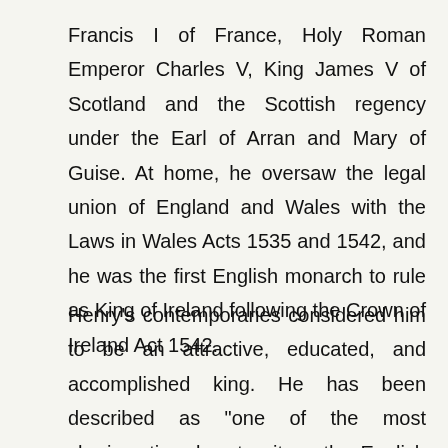Francis I of France, Holy Roman Emperor Charles V, King James V of Scotland and the Scottish regency under the Earl of Arran and Mary of Guise. At home, he oversaw the legal union of England and Wales with the Laws in Wales Acts 1535 and 1542, and he was the first English monarch to rule as King of Ireland following the Crown of Ireland Act 1542.
Henry's contemporaries considered him to be an attractive, educated, and accomplished king. He has been described as "one of the most charismatic rulers to sit on the English throne" and his reign has been described as the "most important" in English history. He was an author and composer. As he aged, he became severely overweight and his health suffered. He is frequently